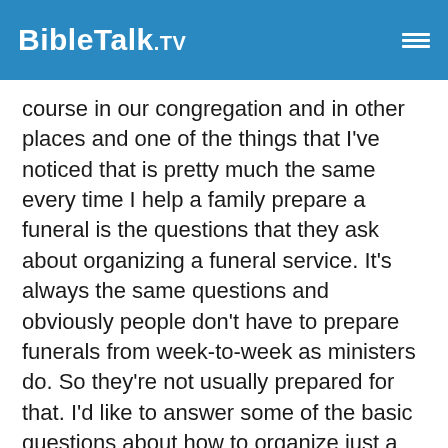BibleTalk.TV
course in our congregation and in other places and one of the things that I've noticed that is pretty much the same every time I help a family prepare a funeral is the questions that they ask about organizing a funeral service. It's always the same questions and obviously people don't have to prepare funerals from week-to-week as ministers do. So they're not usually prepared for that. I'd like to answer some of the basic questions about how to organize just a general funeral for a family member or friend.
First of all, I encourage the people, of course to work